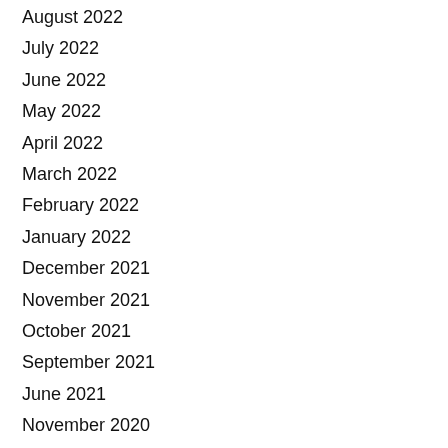August 2022
July 2022
June 2022
May 2022
April 2022
March 2022
February 2022
January 2022
December 2021
November 2021
October 2021
September 2021
June 2021
November 2020
October 2020